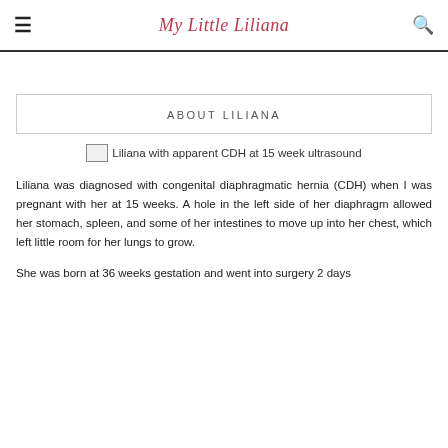My Little Liliana
ABOUT LILIANA
[Figure (photo): Liliana with apparent CDH at 15 week ultrasound]
Liliana was diagnosed with congenital diaphragmatic hernia (CDH) when I was pregnant with her at 15 weeks. A hole in the left side of her diaphragm allowed her stomach, spleen, and some of her intestines to move up into her chest, which left little room for her lungs to grow.
She was born at 36 weeks gestation and went into surgery 2 days